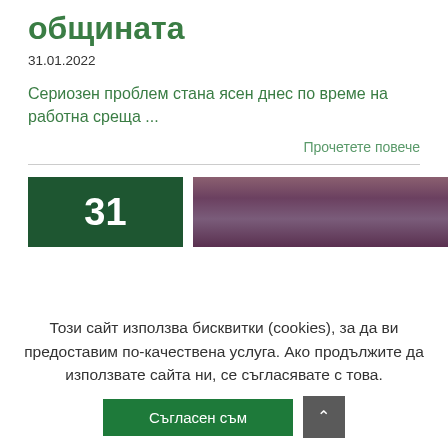Транспортни имоти в общината
31.01.2022
Сериозен проблем стана ясен днес по време на работна среща ...
Прочетете повече
[Figure (screenshot): Dark green box with number 31 and a thumbnail photo with reddish-purple sunset sky]
Този сайт използва бисквитки (cookies), за да ви предоставим по-качествена услуга. Ако продължите да използвате сайта ни, се съгласявате с това.
Съгласен съм